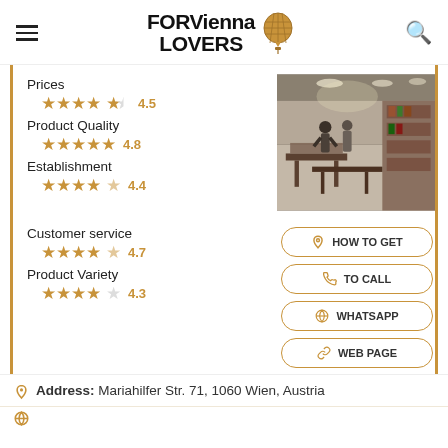FOR Vienna LOVERS
Prices ★★★★½ 4.5
Product Quality ★★★★★ 4.8
Establishment ★★★★½ 4.4
Customer service ★★★★½ 4.7
Product Variety ★★★★☆ 4.3
[Figure (photo): Interior of a store in Vienna showing shelves and display tables with products, customers walking]
HOW TO GET
TO CALL
WHATSAPP
WEB PAGE
Address: Mariahilfer Str. 71, 1060 Wien, Austria